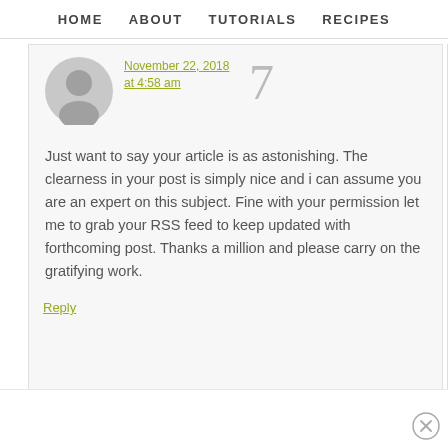HOME   ABOUT   TUTORIALS   RECIPES
November 22, 2018 at 4:58 am
Just want to say your article is as astonishing. The clearness in your post is simply nice and i can assume you are an expert on this subject. Fine with your permission let me to grab your RSS feed to keep updated with forthcoming post. Thanks a million and please carry on the gratifying work.
Reply